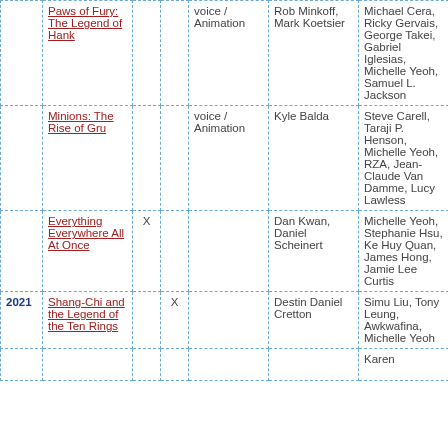| Year | Title | Col1 | Col2 | Type | Director | Cast | Extra |
| --- | --- | --- | --- | --- | --- | --- | --- |
|  | Paws of Fury: The Legend of Hank |  |  | voice / Animation | Rob Minkoff, Mark Koetsier | Michael Cera, Ricky Gervais, George Takei, Gabriel Iglesias, Michelle Yeoh, Samuel L. Jackson | a a |
|  | Minions: The Rise of Gru |  |  | voice / Animation | Kyle Balda | Steve Carell, Taraji P. Henson, Michelle Yeoh, RZA, Jean-Claude Van Damme, Lucy Lawless | a a |
|  | Everything Everywhere All At Once | X |  |  | Dan Kwan, Daniel Scheinert | Michelle Yeoh, Stephanie Hsu, Ke Huy Quan, James Hong, Jamie Lee Curtis | s c |
| 2021 | Shang-Chi and the Legend of the Ten Rings |  | X |  | Destin Daniel Cretton | Simu Liu, Tony Leung, Awkwafina, Michelle Yeoh | a |
|  |  |  |  |  |  | Karen |  |